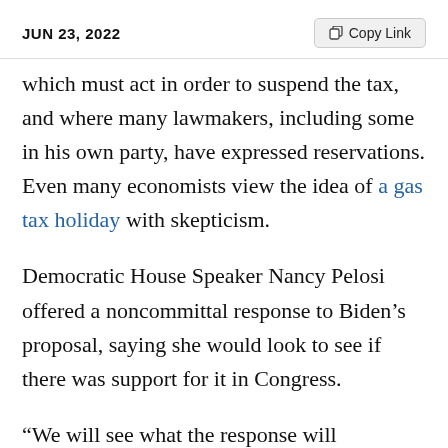JUN 23, 2022
which must act in order to suspend the tax, and where many lawmakers, including some in his own party, have expressed reservations. Even many economists view the idea of a gas tax holiday with skepticism.
Democratic House Speaker Nancy Pelosi offered a noncommittal response to Biden’s proposal, saying she would look to see if there was support for it in Congress.
“We will see what the response will…